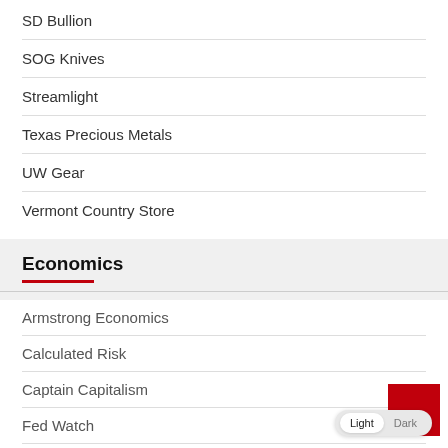SD Bullion
SOG Knives
Streamlight
Texas Precious Metals
UW Gear
Vermont Country Store
Economics
Armstrong Economics
Calculated Risk
Captain Capitalism
Fed Watch
Foundation for Economic Education